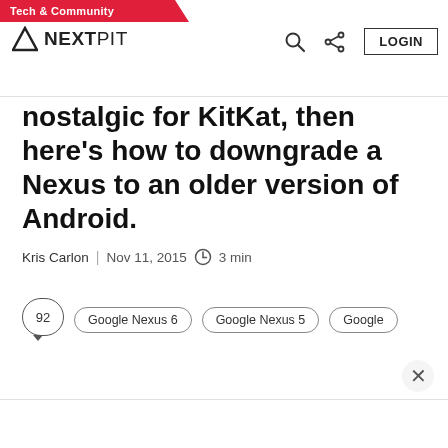Tech & Community | NEXTPIT | LOGIN
nostalgic for KitKat, then here's how to downgrade a Nexus to an older version of Android.
Kris Carlon | Nov 11, 2015 | 3 min
92
Google Nexus 6
Google Nexus 5
Google